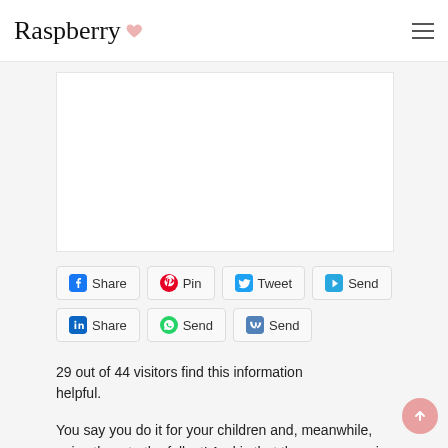Raspberry
[Figure (other): White rectangular placeholder/ad area]
Share  Pin  Tweet  Send  Share  Send  Send
29 out of 44 visitors find this information helpful.
You say you do it for your children and, meanwhile, enjoy them to the fullest! And is that the many zoos in Holland are beautiful,